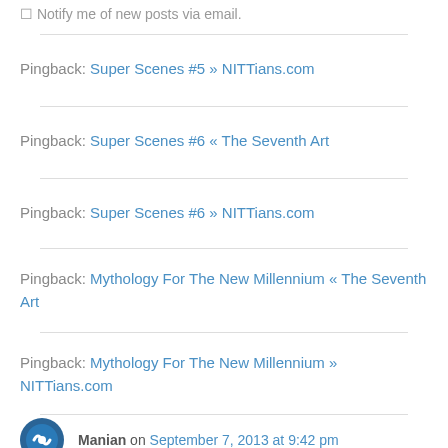Notify me of new posts via email.
Pingback: Super Scenes #5 » NITTians.com
Pingback: Super Scenes #6 « The Seventh Art
Pingback: Super Scenes #6 » NITTians.com
Pingback: Mythology For The New Millennium « The Seventh Art
Pingback: Mythology For The New Millennium » NITTians.com
Manian on September 7, 2013 at 9:42 pm